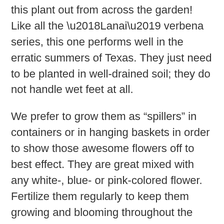this plant out from across the garden! Like all the 'Lanai' verbena series, this one performs well in the erratic summers of Texas. They just need to be planted in well-drained soil; they do not handle wet feet at all.
We prefer to grow them as “spillers” in containers or in hanging baskets in order to show those awesome flowers off to best effect. They are great mixed with any white-, blue- or pink-colored flower. Fertilize them regularly to keep them growing and blooming throughout the season.
About the author: Jimmy Turner is the senior director of gardens at the Dallas Arboretum. Visit...